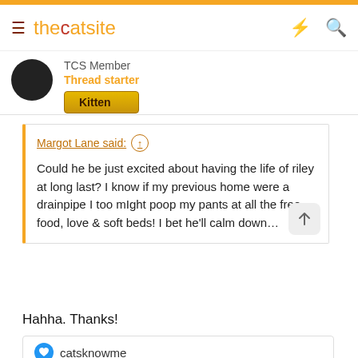thecatsite
TCS Member
Thread starter
Kitten
Margot Lane said: ↑
Could he be just excited about having the life of riley at long last? I know if my previous home were a drainpipe I too might poop my pants at all the free food, love & soft beds! I bet he'll calm down…
Hahha. Thanks!
catsknowme